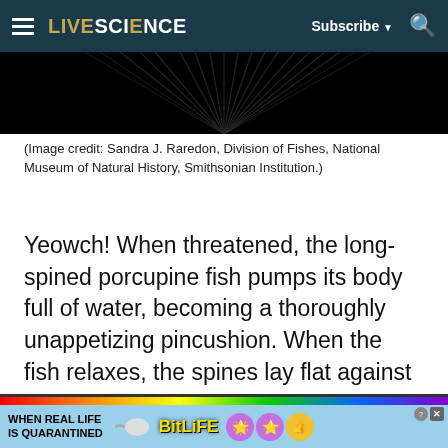LIVESCIENCE   Subscribe  🔍
[Figure (photo): Close-up of long-spined porcupine fish radiating spines, black background]
(Image credit: Sandra J. Raredon, Division of Fishes, National Museum of Natural History, Smithsonian Institution.)
Yeowch! When threatened, the long-spined porcupine fish pumps its body full of water, becoming a thoroughly unappetizing pincushion. When the fish relaxes, the spines lay flat against its body.
[Figure (photo): Advertisement banner: WHEN REAL LIFE IS QUARANTINED - BitLife mobile game ad with rainbow strip and cartoon characters]